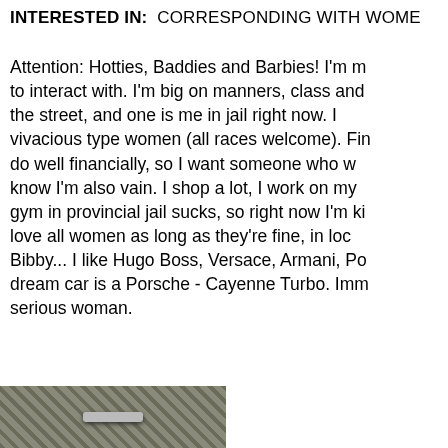INTERESTED IN: CORRESPONDING WITH WOME...
Attention: Hotties, Baddies and Barbies! I'm m... to interact with. I'm big on manners, class and... the street, and one is me in jail right now. I... vivacious type women (all races welcome). Fin... do well financially, so I want someone who w... know I'm also vain. I shop a lot, I work on my... gym in provincial jail sucks, so right now I'm ki... love all women as long as they're fine, in loc... Bibby... I like Hugo Boss, Versace, Armani, Po... dream car is a Porsche - Cayenne Turbo. Imm... serious woman.
[Figure (photo): Partial photo at bottom left, appears to show a chain-link fence or metal bars with machinery/hardware, cropped.]